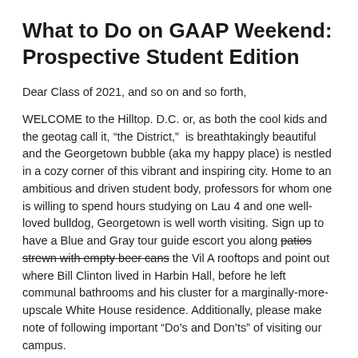What to Do on GAAP Weekend: Prospective Student Edition
Dear Class of 2021, and so on and so forth,
WELCOME to the Hilltop. D.C. or, as both the cool kids and the geotag call it, “the District,”  is breathtakingly beautiful and the Georgetown bubble (aka my happy place) is nestled in a cozy corner of this vibrant and inspiring city. Home to an ambitious and driven student body, professors for whom one is willing to spend hours studying on Lau 4 and one well-loved bulldog, Georgetown is well worth visiting. Sign up to have a Blue and Gray tour guide escort you along patios strewn with empty beer cans the Vil A rooftops and point out where Bill Clinton lived in Harbin Hall, before he left communal bathrooms and his cluster for a marginally-more-upscale White House residence. Additionally, please make note of following important “Do’s and Don’ts” of visiting our campus.
Don't try to join the meme page
[Figure (photo): Two people viewed from behind, appearing to be students in conversation]